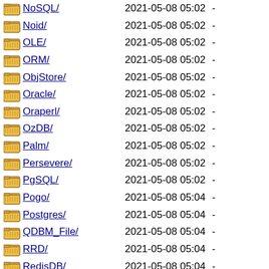NoSQL/ 2021-05-08 05:02 -
Noid/ 2021-05-08 05:02 -
OLE/ 2021-05-08 05:02 -
ORM/ 2021-05-08 05:02 -
ObjStore/ 2021-05-08 05:02 -
Oracle/ 2021-05-08 05:02 -
Oraperl/ 2021-05-08 05:02 -
OzDB/ 2021-05-08 05:02 -
Palm/ 2021-05-08 05:02 -
Persevere/ 2021-05-08 05:02 -
PgSQL/ 2021-05-08 05:02 -
Pogo/ 2021-05-08 05:04 -
Postgres/ 2021-05-08 05:04 -
QDBM_File/ 2021-05-08 05:04 -
RRD/ 2021-05-08 05:04 -
RedisDB/ 2021-05-08 05:04 -
Redmine/ 2021-05-08 05:04 -